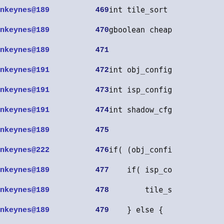| Author | Line | Code |
| --- | --- | --- |
| nkeynes@189 | 469 | int tile_sort |
| nkeynes@189 | 470 | gboolean cheap |
| nkeynes@189 | 471 |  |
| nkeynes@191 | 472 | int obj_config |
| nkeynes@191 | 473 | int isp_config |
| nkeynes@191 | 474 | int shadow_cfg |
| nkeynes@189 | 475 |  |
| nkeynes@222 | 476 | if( (obj_confi |
| nkeynes@189 | 477 |     if( isp_co |
| nkeynes@189 | 478 |         tile_s |
| nkeynes@189 | 479 |     } else { |